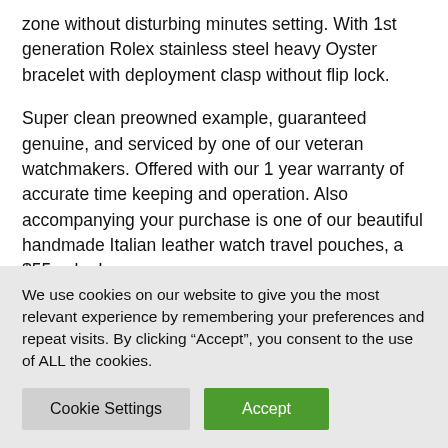zone without disturbing minutes setting. With 1st generation Rolex stainless steel heavy Oyster bracelet with deployment clasp without flip lock.
Super clean preowned example, guaranteed genuine, and serviced by one of our veteran watchmakers. Offered with our 1 year warranty of accurate time keeping and operation. Also accompanying your purchase is one of our beautiful handmade Italian leather watch travel pouches, a $55 value!
SKU 51352
We use cookies on our website to give you the most relevant experience by remembering your preferences and repeat visits. By clicking “Accept”, you consent to the use of ALL the cookies.